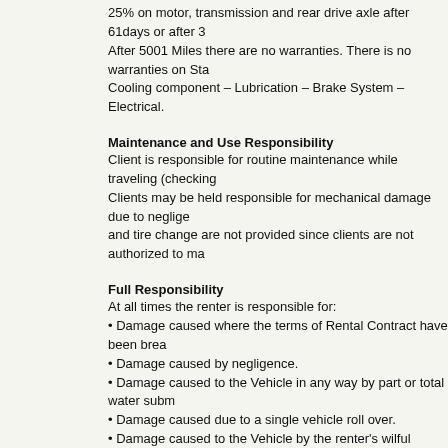25% on motor, transmission and rear drive axle after 61days or after 3 After 5001 Miles there are no warranties. There is no warranties on Sta Cooling component – Lubrication – Brake System – Electrical.
Maintenance and Use Responsibility
Client is responsible for routine maintenance while traveling (checking Clients may be held responsible for mechanical damage due to neglige and tire change are not provided since clients are not authorized to ma
Full Responsibility
At all times the renter is responsible for:
• Damage caused where the terms of Rental Contract have been brea
• Damage caused by negligence.
• Damage caused to the Vehicle in any way by part or total water subm
• Damage caused due to a single vehicle roll over.
• Damage caused to the Vehicle by the renter's wilful conduct.
• Damage caused to the Vehicle when using the Vehicle in contraventi
• Damage caused to tires and windscreen unless CDW is purchased.
• Damage or loss caused to any personal belongings.
• Damage caused due to use of incorrect or contaminated fuel.
• Damage to the awning, slide out, overhead or underbody of the Vehi
Cancellation Fees
If cancelled up to 45 days prior to rental date US$ 300.00 cancellation
If cancelled44 to 30 days prior to rental date - 50% of rental price